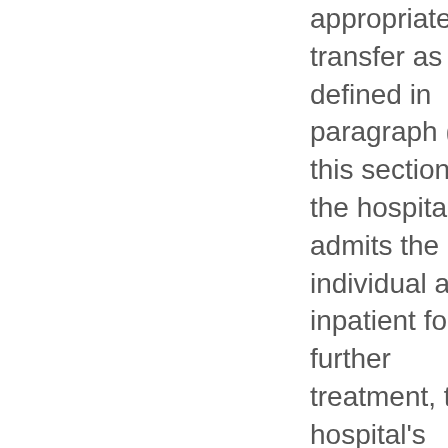appropriate transfer as defined in paragraph (e) of this section. If the hospital admits the individual as an inpatient for further treatment, the hospital's obligation under this section ends, as specified in paragraph (d)(2) of this section.